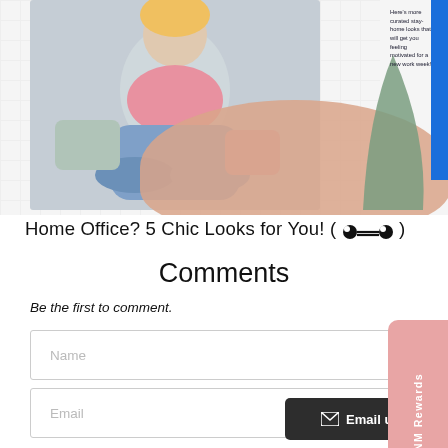[Figure (photo): Top portion of a lifestyle/fashion blog page showing a person sitting cross-legged on the floor with pillows, wearing jeans. Decorative peach blob shape and green leaf/triangle shape are visible. A blue sidebar bar appears on the right edge. Promotional text overlay reads: Here's more curated stay-home looks that will get you feeling motivated for a new work week!]
Here's more curated stay-home looks that will get you feeling motivated for a new work week!
Home Office? 5 Chic Looks for You! ( •__• )
Comments
Be the first to comment.
Name
Email
Comment